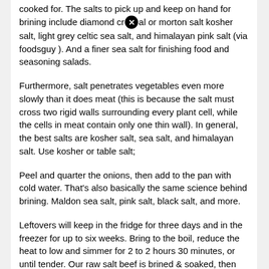cooked for. The salts to pick up and keep on hand for brining include diamond crystal or morton salt kosher salt, light grey celtic sea salt, and himalayan pink salt (via foodsguy ). And a finer sea salt for finishing food and seasoning salads.
Furthermore, salt penetrates vegetables even more slowly than it does meat (this is because the salt must cross two rigid walls surrounding every plant cell, while the cells in meat contain only one thin wall). In general, the best salts are kosher salt, sea salt, and himalayan salt. Use kosher or table salt;
Peel and quarter the onions, then add to the pan with cold water. That's also basically the same science behind brining. Maldon sea salt, pink salt, black salt, and more.
Leftovers will keep in the fridge for three days and in the freezer for up to six weeks. Bring to the boil, reduce the heat to low and simmer for 2 to 2 hours 30 minutes, or until tender. Our raw salt beef is brined & soaked, then vacuum packed ensuring a good shelf life.